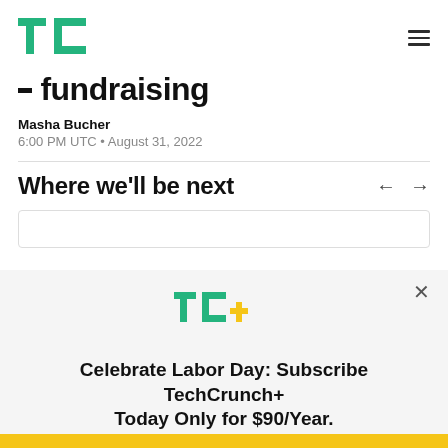TechCrunch
fundraising
Masha Bucher
6:00 PM UTC • August 31, 2022
Where we'll be next
[Figure (other): Card preview area with navigation arrows]
[Figure (logo): TechCrunch+ logo (TC+ in green and yellow)]
Celebrate Labor Day: Subscribe TechCrunch+ Today Only for $90/Year.
GET OFFER NOW